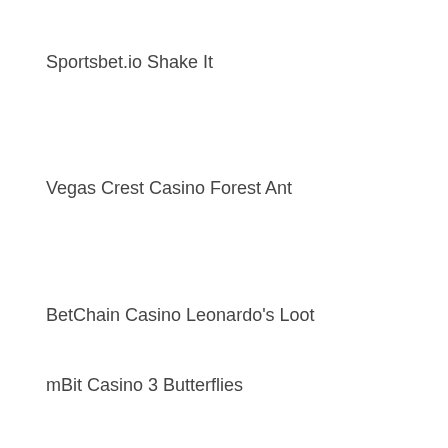Sportsbet.io Shake It
Vegas Crest Casino Forest Ant
BetChain Casino Leonardo's Loot
mBit Casino 3 Butterflies